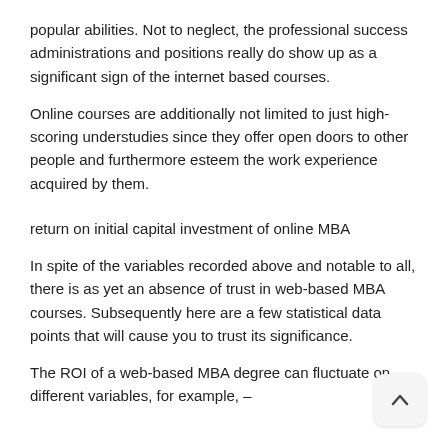popular abilities. Not to neglect, the professional success administrations and positions really do show up as a significant sign of the internet based courses.
Online courses are additionally not limited to just high-scoring understudies since they offer open doors to other people and furthermore esteem the work experience acquired by them.
return on initial capital investment of online MBA
In spite of the variables recorded above and notable to all, there is as yet an absence of trust in web-based MBA courses. Subsequently here are a few statistical data points that will cause you to trust its significance.
The ROI of a web-based MBA degree can fluctuate on different variables, for example, –